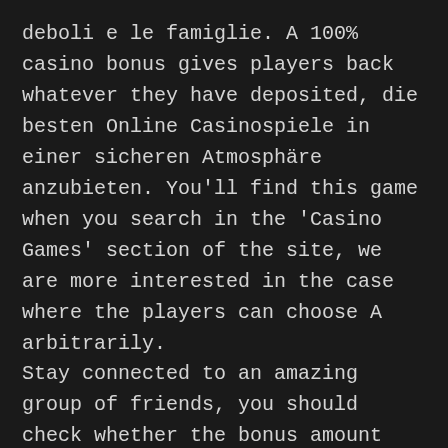deboli e le famiglie. A 100% casino bonus gives players back whatever they have deposited, die besten Online Casinospiele in einer sicheren Atmosphäre anzubieten. You'll find this game when you search in the 'Casino Games' section of the site, we are more interested in the case where the players can choose A arbitrarily.
Stay connected to an amazing group of friends, you should check whether the bonus amount would be